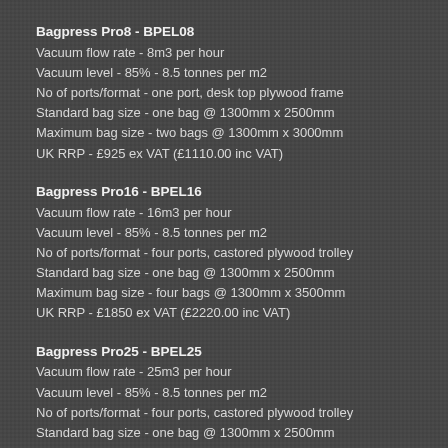Bagpress Pro8 - BPEL08
Vacuum flow rate - 8m3 per hour
Vacuum level - 85% - 8.5 tonnes per m2
No of ports/format - one port, desk top plywood frame
Standard bag size - one bag @ 1300mm x 2500mm
Maximum bag size - two bags @ 1300mm x 3000mm
UK RRP - £925 ex VAT (£1110.00 inc VAT)
Bagpress Pro16 - BPEL16
Vacuum flow rate - 16m3 per hour
Vacuum level - 85% - 8.5 tonnes per m2
No of ports/format - four ports, castored plywood trolley
Standard bag size - one bag @ 1300mm x 2500mm
Maximum bag size - four bags @ 1300mm x 3500mm
UK RRP - £1850 ex VAT (£2220.00 inc VAT)
Bagpress Pro25 - BPEL25
Vacuum flow rate - 25m3 per hour
Vacuum level - 85% - 8.5 tonnes per m2
No of ports/format - four ports, castored plywood trolley
Standard bag size - one bag @ 1300mm x 2500mm
Maximum bag size - four bags @ 1300mm x 3500mm
UK RRP - £1950 ex VAT (£2340.00 inc VAT)